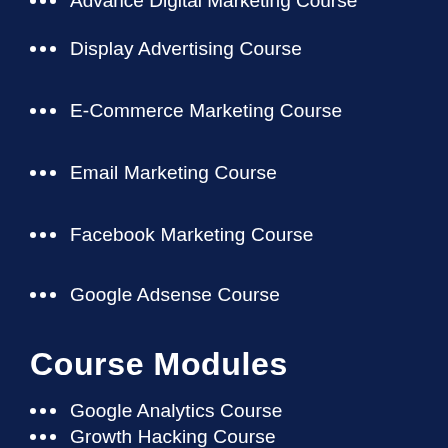Advance Digital Marketing Course
Display Advertising Course
E-Commerce Marketing Course
Email Marketing Course
Facebook Marketing Course
Google Adsense Course
Course Modules
Google Analytics Course
Growth Hacking Course